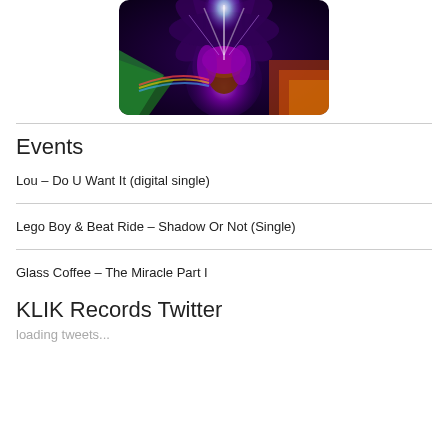[Figure (illustration): Colorful album art or digital artwork showing a figure with purple hair in a glowing orb surrounded by cosmic, floral, and abstract elements on a dark background]
Events
Lou – Do U Want It (digital single)
Lego Boy & Beat Ride – Shadow Or Not (Single)
Glass Coffee – The Miracle Part I
KLIK Records Twitter
loading tweets...